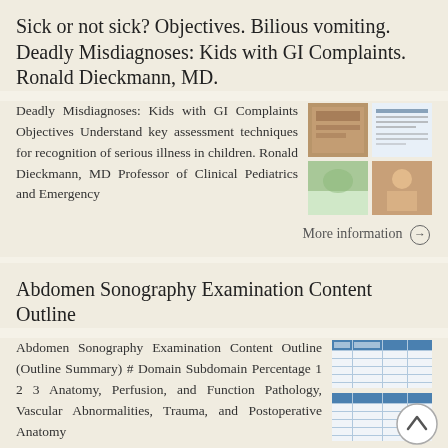Sick or not sick? Objectives. Bilious vomiting. Deadly Misdiagnoses: Kids with GI Complaints. Ronald Dieckmann, MD.
Deadly Misdiagnoses: Kids with GI Complaints Objectives Understand key assessment techniques for recognition of serious illness in children. Ronald Dieckmann, MD Professor of Clinical Pediatrics and Emergency
[Figure (other): Four thumbnail preview images arranged in a 2x2 grid]
More information →
Abdomen Sonography Examination Content Outline
Abdomen Sonography Examination Content Outline (Outline Summary) # Domain Subdomain Percentage 1 2 3 Anatomy, Perfusion, and Function Pathology, Vascular Abnormalities, Trauma, and Postoperative Anatomy
[Figure (table-as-image): Two thumbnail preview images of tables with blue header rows]